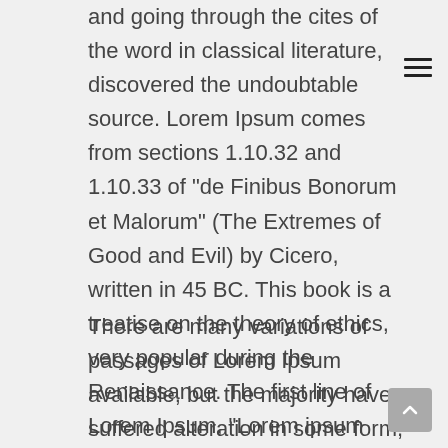and going through the cites of the word in classical literature, discovered the undoubtable source. Lorem Ipsum comes from sections 1.10.32 and 1.10.33 of "de Finibus Bonorum et Malorum" (The Extremes of Good and Evil) by Cicero, written in 45 BC. This book is a treatise on the theory of ethics, very popular during the Renaissance. The first line of Lorem Ipsum, "Lorem ipsum dolor sit amet..", comes from a line in section 1.10.32.
There are many variations of passages of Lorem Ipsum available, but the majority have suffered alteration in some form, by injected humour, or randomised words which don't look even slightly believable. If you are going to use a passage of Lorem Ipsum, you need to be sure there isn't anything embarrassing hidden in the middle of text. All the Lorem Ipsum generators on the